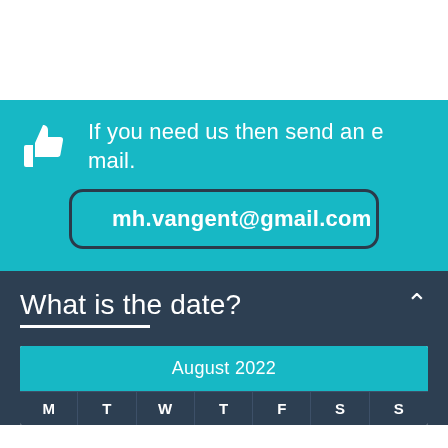If you need us then send an e mail.
mh.vangent@gmail.com
What is the date?
| M | T | W | T | F | S | S |
| --- | --- | --- | --- | --- | --- | --- |